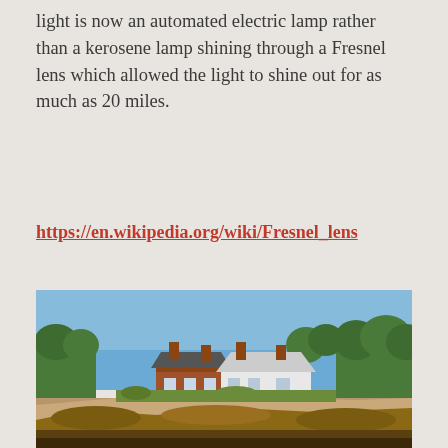light is now an automated electric lamp rather than a kerosene lamp shining through a Fresnel lens which allowed the light to shine out for as much as 20 miles.
https://en.wikipedia.org/wiki/Fresnel_lens
[Figure (photo): Outdoor photograph of a brick and white lighthouse keeper's house complex set on rocky coastal terrain, with trees in background and a clear blue sky above.]